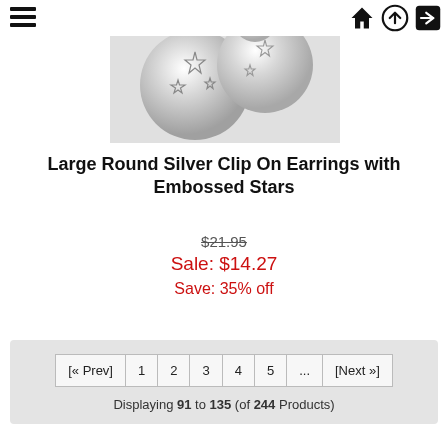[Figure (photo): Two large round silver clip-on earrings with embossed star patterns on a light gray background]
Large Round Silver Clip On Earrings with Embossed Stars
$21.95 (strikethrough) Sale: $14.27 Save: 35% off
Displaying 91 to 135 (of 244 Products)